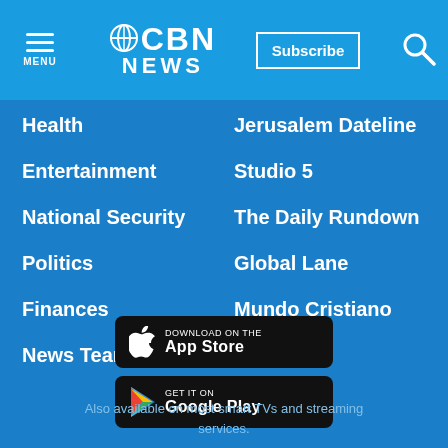CBN NEWS — Subscribe / Search
Health
Jerusalem Dateline
Entertainment
Studio 5
National Security
The Daily Rundown
Politics
Global Lane
Finances
Mundo Cristiano
News Team
All Shows
[Figure (screenshot): Download on the App Store button]
[Figure (screenshot): Get it on Google Play button]
Also available on most smart TVs and streaming services.